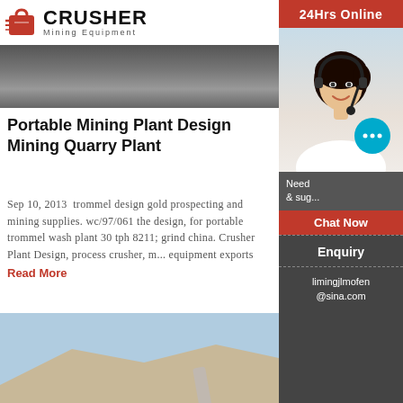[Figure (logo): Crusher Mining Equipment logo with red shopping bag icon and bold black CRUSHER text]
[Figure (photo): Partial view of a dark quarry/mining site from above, showing dirt and machinery silhouette]
Portable Mining Plant Design Mining Quarry Plant
Sep 10, 2013  trommel design gold prospecting and mining supplies. wc/97/061 the design, for portable trommel wash plant 30 tph 8211; grind china. Crusher Plant Design, process crusher, mining equipment exports
Read More
[Figure (photo): Photo of a large tracked mobile crusher/screening machine on a rocky hillside/quarry site with orange stripe markings]
scrubber wash plant for gold pric
used trommel scrubbers for sand and gravel ... scrubber
[Figure (photo): Sidebar: 24Hrs Online banner with photo of a female customer service representative wearing a headset and smiling, with a chat bubble icon]
Need & suggestions
Chat Now
Enquiry
limingjlmofen@sina.com